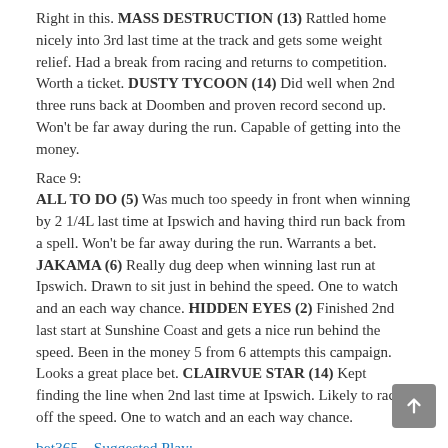Right in this. MASS DESTRUCTION (13) Rattled home nicely into 3rd last time at the track and gets some weight relief. Had a break from racing and returns to competition. Worth a ticket. DUSTY TYCOON (14) Did well when 2nd three runs back at Doomben and proven record second up. Won't be far away during the run. Capable of getting into the money.
Race 9:
ALL TO DO (5) Was much too speedy in front when winning by 2 1/4L last time at Ipswich and having third run back from a spell. Won't be far away during the run. Warrants a bet. JAKAMA (6) Really dug deep when winning last run at Ipswich. Drawn to sit just in behind the speed. One to watch and an each way chance. HIDDEN EYES (2) Finished 2nd last start at Sunshine Coast and gets a nice run behind the speed. Been in the money 5 from 6 attempts this campaign. Looks a great place bet. CLAIRVUE STAR (14) Kept finding the line when 2nd last time at Ipswich. Likely to race off the speed. One to watch and an each way chance.
bet365 – Suggested Play:
Race 1: Greek Hero